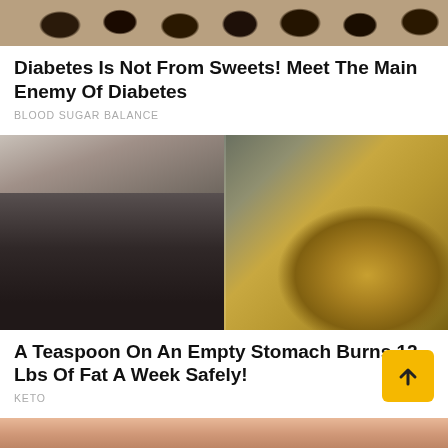[Figure (photo): Top portion of image showing dark dried fruits (figs or dates) on a light background, partially cropped at top]
Diabetes Is Not From Sweets! Meet The Main Enemy Of Diabetes
BLOOD SUGAR BALANCE
[Figure (photo): Split image: left half shows a fit blonde woman in grey jacket showing her toned abs; right half shows a mound of golden-brown spice powder on a spoon]
A Teaspoon On An Empty Stomach Burns 12 Lbs Of Fat A Week Safely!
KETO
[Figure (photo): Partial view of a third article image showing skin/body, cropped at bottom of page]